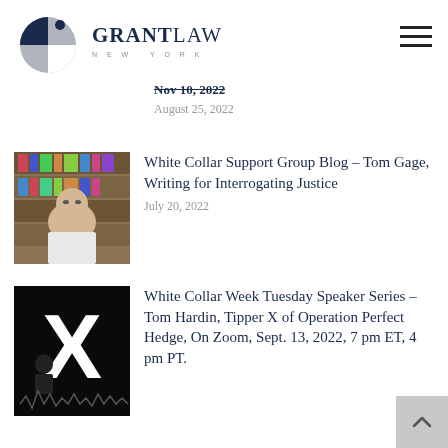[Figure (logo): Grant Law New York logo with pie-chart style circular icon in navy/grey and text GRANTLAW NEW YORK]
Nov 10, 2022
August 25, 2022
[Figure (photo): Photo of a man with glasses seated in front of bookshelves]
White Collar Support Group Blog – Tom Gage, Writing for Interrogating Justice
July 20, 2022
[Figure (photo): Black and white image with large X letter and silhouette of a person with audio waveform]
White Collar Week Tuesday Speaker Series – Tom Hardin, Tipper X of Operation Perfect Hedge, On Zoom, Sept. 13, 2022, 7 pm ET, 4 pm PT.